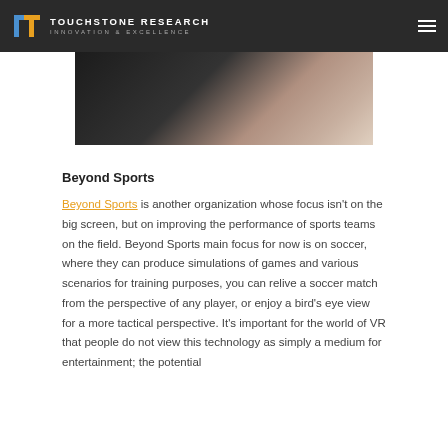TOUCHSTONE RESEARCH INNOVATION & EXCELLENCE
[Figure (photo): Partial view of a person in dark clothing against a light background, close-up cropped image]
Beyond Sports
Beyond Sports is another organization whose focus isn't on the big screen, but on improving the performance of sports teams on the field. Beyond Sports main focus for now is on soccer, where they can produce simulations of games and various scenarios for training purposes, you can relive a soccer match from the perspective of any player, or enjoy a bird's eye view for a more tactical perspective. It's important for the world of VR that people do not view this technology as simply a medium for entertainment; the potential